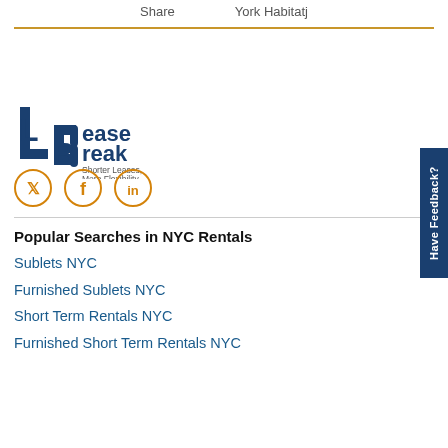Share   York Habitatj
[Figure (logo): LeaseBreak logo with tagline 'Shorter Leases, More Flexibility']
[Figure (infographic): Social media icons: Twitter, Facebook, LinkedIn in orange circles]
Popular Searches in NYC Rentals
Sublets NYC
Furnished Sublets NYC
Short Term Rentals NYC
Furnished Short Term Rentals NYC